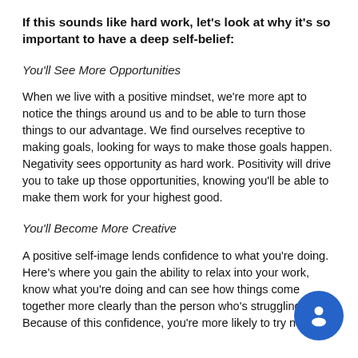If this sounds like hard work, let's look at why it's so important to have a deep self-belief:
You'll See More Opportunities
When we live with a positive mindset, we're more apt to notice the things around us and to be able to turn those things to our advantage. We find ourselves receptive to making goals, looking for ways to make those goals happen. Negativity sees opportunity as hard work. Positivity will drive you to take up those opportunities, knowing you'll be able to make them work for your highest good.
You'll Become More Creative
A positive self-image lends confidence to what you're doing. Here's where you gain the ability to relax into your work, know what you're doing and can see how things come together more clearly than the person who's struggling. Because of this confidence, you're more likely to try new